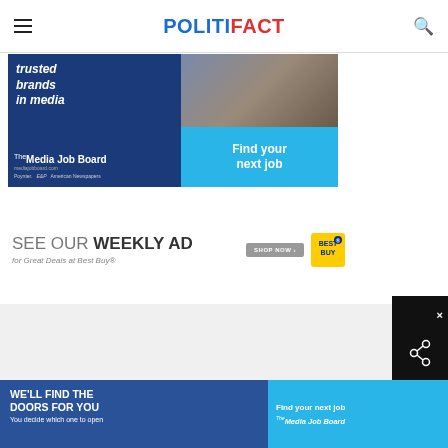POLITIFACT
[Figure (illustration): Media Job Board advertisement with blue background showing 'trusted brands in media' text, photo of person, and 'Find your next job' cyan panel]
[Figure (illustration): Best Buy 'SEE OUR WEEKLY AD for Great Deals at Best Buy®' advertisement with SHOP NOW button and Best Buy logo]
[Figure (illustration): Bottom banner ad: left side blue background with 'WE'LL FIND THE DOORS FOR YOU You decide which one to open', right side cyan 'Find your next job Media Job Board' ad]
[Figure (illustration): Close (X) overlay button and share icon overlay on bottom right]